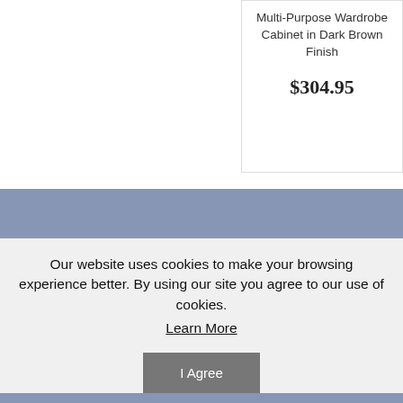Multi-Purpose Wardrobe Cabinet in Dark Brown Finish
$304.95
Information
About Us
Contact Us
Shipping & Returns
My Ac
My Ac
Order H
Track O
Our website uses cookies to make your browsing experience better. By using our site you agree to our use of cookies.
Learn More
I Agree